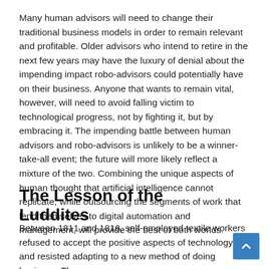Many human advisors will need to change their traditional business models in order to remain relevant and profitable. Older advisors who intend to retire in the next few years may have the luxury of denial about the impending impact robo-advisors could potentially have on their business. Anyone that wants to remain vital, however, will need to avoid falling victim to technological progress, not by fighting it, but by embracing it. The impending battle between human advisors and robo-advisors is unlikely to be a winner-take-all event; the future will more likely reflect a mixture of the two. Combining the unique aspects of human thought that artificial intelligence cannot replicate, while outsourcing the segments of work that lend themselves to digital automation and management, will provide the best of both worlds.
The Lesson of the Luddites
Between 1811 and 1816, self-employed textile workers refused to accept the positive aspects of technology and resisted adapting to a new method of doing business. These